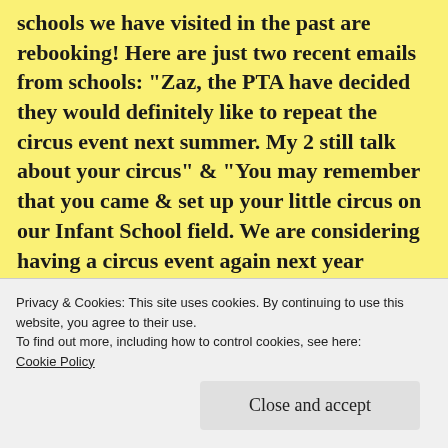schools we have visited in the past are rebooking! Here are just two recent emails from schools: “Zaz, the PTA have decided they would definitely like to repeat the circus event next summer. My 2 still talk about your circus” & “You may remember that you came & set up your little circus on our Infant School field. We are considering having a circus event again next year around May time. Are you still up and running and if so would you be interested in coming back?” Yes indeed!!
Privacy & Cookies: This site uses cookies. By continuing to use this website, you agree to their use.
To find out more, including how to control cookies, see here:
Cookie Policy
Close and accept